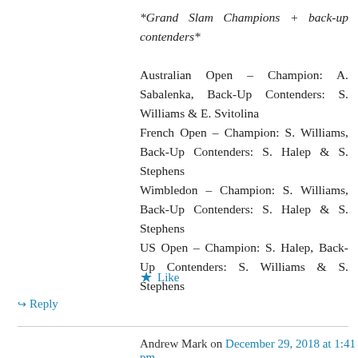*Grand Slam Champions + back-up contenders*

Australian Open – Champion: A. Sabalenka, Back-Up Contenders: S. Williams & E. Svitolina
French Open – Champion: S. Williams, Back-Up Contenders: S. Halep & S. Stephens
Wimbledon – Champion: S. Williams, Back-Up Contenders: S. Halep & S. Stephens
US Open – Champion: S. Halep, Back-Up Contenders: S. Williams & S. Stephens
Like
Reply
Andrew Mark on December 29, 2018 at 1:41 pm
Not sure if anyone here follows Svitolina online